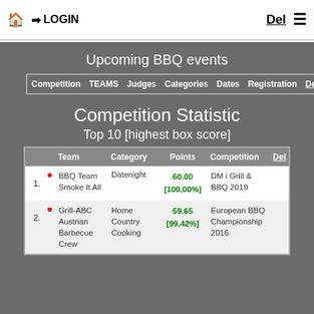🏠 ➡ LOGIN   Del ≡
Upcoming BBQ events
| Competition | TEAMS | Judges | Categories | Dates | Registration | Del |
| --- | --- | --- | --- | --- | --- | --- |
Competition Statistic
Top 10 [highest box score]
|  | Team | Category | Points | Competition | Del |
| --- | --- | --- | --- | --- | --- |
| 1. |  | BBQ Team Smoke It All | Datenight | 60.00 [100,00%] | DM i Grill & BBQ 2019 |  |
| 2. |  | Grill-ABC Austrian Barbecue Crew | Home Country Cooking | 59.65 [99,42%] | European BBQ Championship 2016 |  |